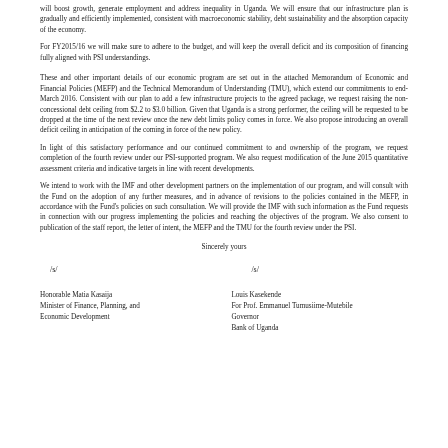will boost growth, generate employment and address inequality in Uganda. We will ensure that our infrastructure plan is gradually and efficiently implemented, consistent with macroeconomic stability, debt sustainability and the absorption capacity of the economy.
For FY2015/16 we will make sure to adhere to the budget, and will keep the overall deficit and its composition of financing fully aligned with PSI understandings.
These and other important details of our economic program are set out in the attached Memorandum of Economic and Financial Policies (MEFP) and the Technical Memorandum of Understanding (TMU), which extend our commitments to end-March 2016. Consistent with our plan to add a few infrastructure projects to the agreed package, we request raising the non-concessional debt ceiling from $2.2 to $3.0 billion. Given that Uganda is a strong performer, the ceiling will be requested to be dropped at the time of the next review once the new debt limits policy comes in force. We also propose introducing an overall deficit ceiling in anticipation of the coming in force of the new policy.
In light of this satisfactory performance and our continued commitment to and ownership of the program, we request completion of the fourth review under our PSI-supported program. We also request modification of the June 2015 quantitative assessment criteria and indicative targets in line with recent developments.
We intend to work with the IMF and other development partners on the implementation of our program, and will consult with the Fund on the adoption of any further measures, and in advance of revisions to the policies contained in the MEFP, in accordance with the Fund's policies on such consultation. We will provide the IMF with such information as the Fund requests in connection with our progress implementing the policies and reaching the objectives of the program. We also consent to publication of the staff report, the letter of intent, the MEFP and the TMU for the fourth review under the PSI.
Sincerely yours
/s/
/s/
Honorable Matia Kasaija
Minister of Finance, Planning, and
Economic Development
Louis Kasekende
For Prof. Emmanuel Tumusiime-Mutebile
Governor
Bank of Uganda